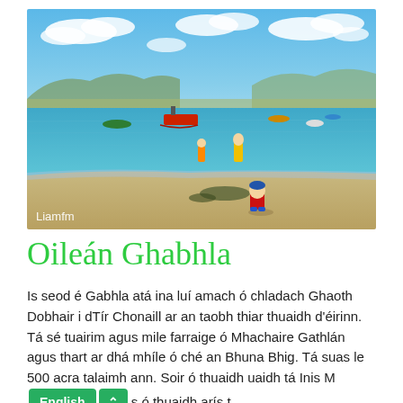[Figure (photo): Coastal scene with a bay, boats including a red vessel, distant green hills under partly cloudy blue sky. In the foreground a child in red sits on a sandy beach near the shoreline, and an adult in yellow stands in shallow water. Watermark 'Liamfm' in bottom left.]
Oileán Ghabhla
Is seod é Gabhla atá ina luí amach ó chladach Ghaoth Dobhair i dTír Chonaill ar an taobh thiar thuaidh d'éirinn. Tá sé tuairim agus mile farraige ó Mhachaire Gathlán agus thart ar dhá mhíle ó ché an Bhuna Bhig. Tá suas le 500 acra talaimh ann. Soir ó thuaidh uaidh tá Inis M... s ... thuaidh arís t...